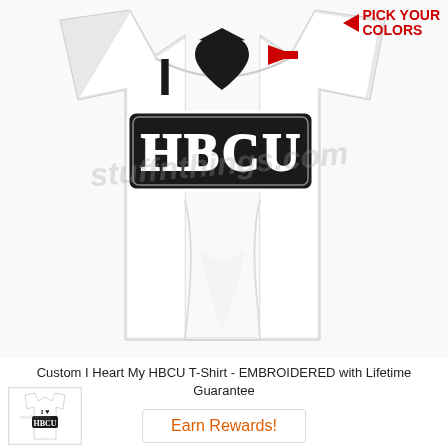[Figure (photo): Product photo of a white fitted women's t-shirt with 'I Heart My HBCU' design embroidered on it. The shirt has a large black heart/graduation cap graphic and bold black collegiate lettering spelling 'HBCU'. A red arrow points to the design with 'PICK YOUR COLORS' text in red. A watermark reading 'stuffnthings.com' is overlaid on the image.]
PICK YOUR COLORS
Custom I Heart My HBCU T-Shirt - EMBROIDERED with Lifetime Guarantee
[Figure (photo): Small thumbnail image of the same I Heart My HBCU t-shirt product in white.]
Earn Rewards!